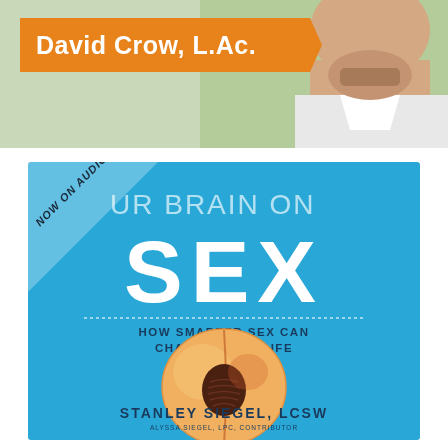[Figure (photo): Top portion showing a person's face/neck partially visible at top right, with an orange banner reading 'David Crow, L.Ac.' on the left side, green background.]
[Figure (illustration): Book cover with blue background. Diagonal white ribbon banner in top-left corner reading 'NOW ON AUDIO'. Title reads 'YOUR BRAIN ON SEX' with 'SEX' in large white bold letters. Subtitle 'HOW SMARTER SEX CAN CHANGE YOUR LIFE' in dark blue. A peach fruit cut in half showing the pit in the center. Author: STANLEY SIEGEL, LCSW. Contributor: ALYSSA SIEGEL, LPC.]